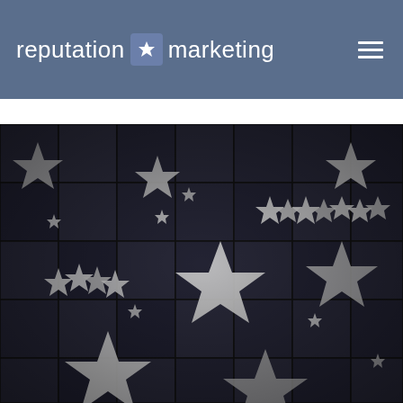reputation ★ marketing
[Figure (photo): Black and white close-up photograph of multiple metallic star shapes of various sizes arranged on dark tiles or blocks, creating a repeating pattern reminiscent of a Hollywood Walk of Fame style stars display]